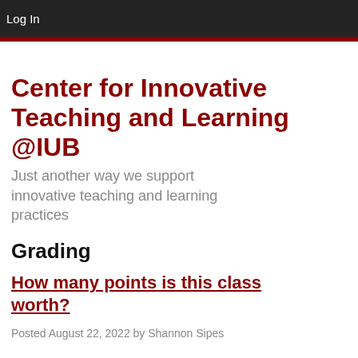Log In
Center for Innovative Teaching and Learning @IUB
Just another way we support innovative teaching and learning practices
Grading
How many points is this class worth?
Posted August 22, 2022 by Shannon Sipes